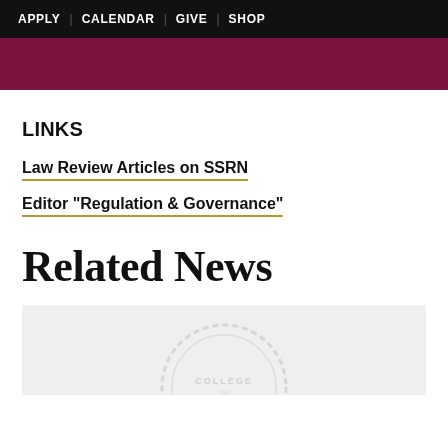APPLY | CALENDAR | GIVE | SHOP
LINKS
Law Review Articles on SSRN
Editor "Regulation & Governance"
Related News
[Figure (illustration): Light gray card with a faint college seal watermark at the bottom center]